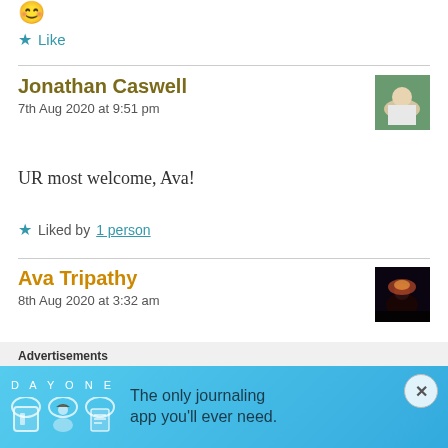[Figure (illustration): Smiley face emoji at top left corner]
Like
Jonathan Caswell
7th Aug 2020 at 9:51 pm
[Figure (photo): Profile photo of Jonathan Caswell — man in white shirt outdoors with green trees]
UR most welcome, Ava!
Liked by 1 person
Ava Tripathy
8th Aug 2020 at 3:32 am
[Figure (photo): Profile photo of Ava Tripathy — dark atmospheric image with figures and light]
Advertisements
[Figure (infographic): Day One journaling app advertisement banner. Blue background with DAYONE title, three circular icons (book, person, notepad), and text: The only journaling app you'll ever need.]